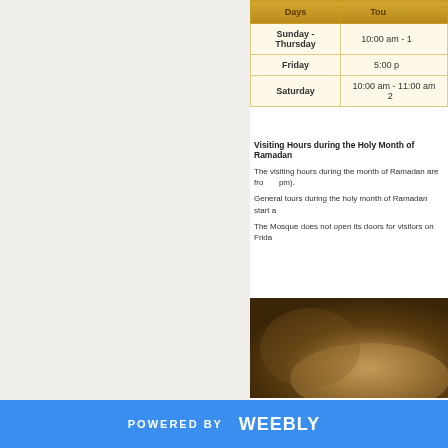| Days | Tour |
| --- | --- |
| Sunday - Thursday | 10:00 am - 1... |
| Friday | 5:00 p... |
| Saturday | 10:00 am - 11:00 am 2... |
Visiting Hours during the Holy Month of Ramadan
The visiting hours during the month of Ramadan are fro... pm).
General tours during the holy month of Ramadan start a...
The Mosque does not open its doors for visitors on Frida...
[Figure (photo): Interior architectural photo of a mosque, showing warm brown and golden tones of stone or plaster structure]
POWERED BY weebly